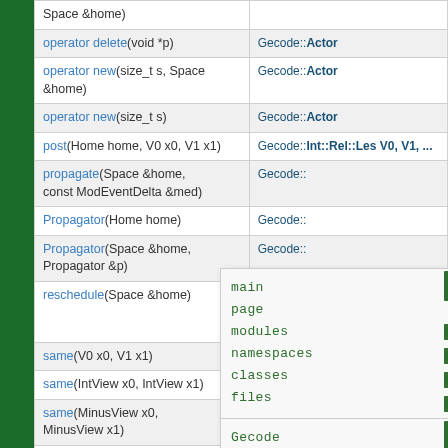| Function | Class |
| --- | --- |
| Space &home) |  |
| operator delete(void *p) | Gecode::Actor |
| operator new(size_t s, Space &home) | Gecode::Actor |
| operator new(size_t s) | Gecode::Actor |
| post(Home home, V0 x0, V1 x1) | Gecode::Int::Rel::Les V0, V1, ... |
| propagate(Space &home, const ModEventDelta &med) | Gecode::... |
| Propagator(Home home) | Gecode::... |
| Propagator(Space &home, Propagator &p) | Gecode::... |
| reschedule(Space &home) | Gecode::... V0, PC_ PC_INT... |
| same(V0 x0, V1 x1) | Gecode::... |
| same(IntView x0, IntView x1) | Gecode::... |
| same(MinusView x0, MinusView x1) | Gecode::Int::Rel::Les V0, V1... |
| same(BoolView x0, BoolView x1) | Gecode::... |
| size | Gecode::Propagator |
[Figure (screenshot): Navigation overlay panel with links: main page, modules, namespaces, classes, files, Gecode home, search box. Generated note: Generated on Tue May 22 09:41:34 2018 for Gecode by doxygen 1.6.3]